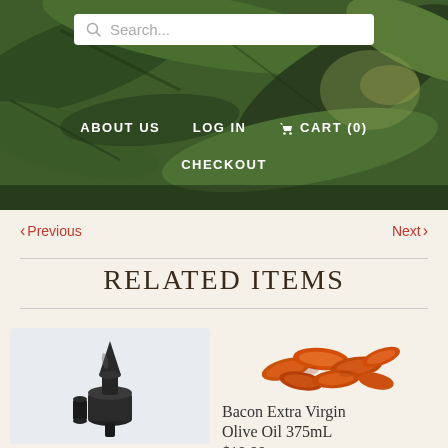[Figure (screenshot): Website header with green leafy background, search bar, navigation links: ABOUT US, LOG IN, CART (0), CHECKOUT]
‹ Previous
Next ›
RELATED ITEMS
[Figure (photo): Black oil bottle stopper/pourer with cap]
[Figure (photo): Bacon pieces, extra virgin olive oil product]
Bacon Extra Virgin Olive Oil 375mL
$19.99